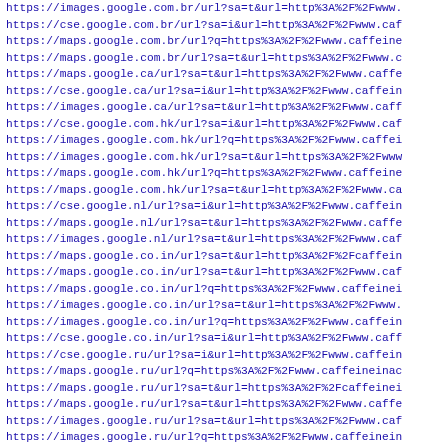https://images.google.com.br/url?sa=t&url=http%3A%2F%2Fwww.
https://cse.google.com.br/url?sa=i&url=http%3A%2F%2Fwww.caf
https://maps.google.com.br/url?q=https%3A%2F%2Fwww.caffeine
https://maps.google.com.br/url?sa=t&url=https%3A%2F%2Fwww.c
https://maps.google.ca/url?sa=t&url=https%3A%2F%2Fwww.caffe
https://cse.google.ca/url?sa=i&url=http%3A%2F%2Fwww.caffein
https://images.google.ca/url?sa=t&url=http%3A%2F%2Fwww.caff
https://cse.google.com.hk/url?sa=i&url=http%3A%2F%2Fwww.caf
https://images.google.com.hk/url?q=https%3A%2F%2Fwww.caffei
https://images.google.com.hk/url?sa=t&url=https%3A%2F%2Fwww
https://maps.google.com.hk/url?q=https%3A%2F%2Fwww.caffeine
https://maps.google.com.hk/url?sa=t&url=http%3A%2F%2Fwww.ca
https://cse.google.nl/url?sa=i&url=http%3A%2F%2Fwww.caffein
https://maps.google.nl/url?sa=t&url=https%3A%2F%2Fwww.caffe
https://images.google.nl/url?sa=t&url=https%3A%2F%2Fwww.caf
https://maps.google.co.in/url?sa=t&url=http%3A%2F%2Fcaffein
https://maps.google.co.in/url?sa=t&url=http%3A%2F%2Fwww.caf
https://maps.google.co.in/url?q=https%3A%2F%2Fwww.caffeinei
https://images.google.co.in/url?sa=t&url=https%3A%2F%2Fwww.
https://images.google.co.in/url?q=https%3A%2F%2Fwww.caffein
https://cse.google.co.in/url?sa=i&url=http%3A%2F%2Fwww.caff
https://cse.google.ru/url?sa=i&url=http%3A%2F%2Fwww.caffein
https://maps.google.ru/url?q=https%3A%2F%2Fwww.caffeineinac
https://maps.google.ru/url?sa=t&url=https%3A%2F%2Fcaffeinei
https://maps.google.ru/url?sa=t&url=https%3A%2F%2Fwww.caffe
https://images.google.ru/url?sa=t&url=https%3A%2F%2Fwww.caf
https://images.google.ru/url?q=https%3A%2F%2Fwww.caffeinein
https://maps.google.pl/url?sa=t&url=http%3A%2F%2Fwww.caffei
https://images.google.pl/url?sa=t&url=https%3A%2F%2Fcaffeine